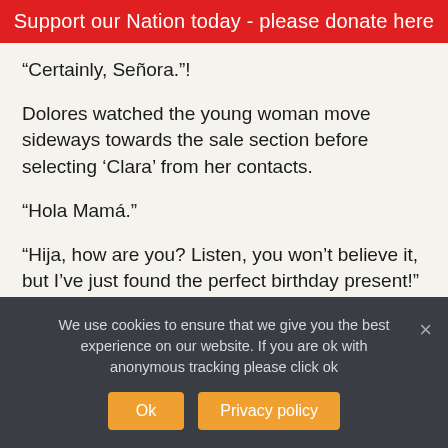Support our Nation today - please donate here
“Certainly, Señora.”!
Dolores watched the young woman move sideways towards the sale section before selecting ‘Clara’ from her contacts.
“Hola Mamá.”
“Hija, how are you? Listen, you won’t believe it, but I’ve just found the perfect birthday present!”
“Where are you? Whose birthday?”
We use cookies to ensure that we give you the best experience on our website. If you are ok with anonymous tracking please click ok